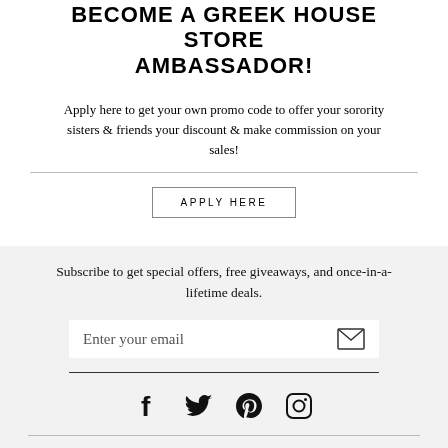BECOME A GREEK HOUSE STORE AMBASSADOR!
Apply here to get your own promo code to offer your sorority sisters & friends your discount & make commission on your sales!
APPLY HERE
Subscribe to get special offers, free giveaways, and once-in-a-lifetime deals.
Enter your email
[Figure (infographic): Social media icons: Facebook, Twitter, Pinterest, Instagram]
Home